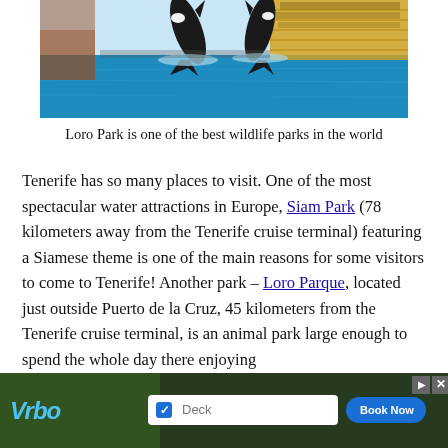[Figure (photo): Two orcas/dolphins leaping out of a blue pool at Loro Park, with yellow stadium seating in the background and a crowd of spectators]
Loro Park is one of the best wildlife parks in the world
Tenerife has so many places to visit. One of the most spectacular water attractions in Europe, Siam Park (78 kilometers away from the Tenerife cruise terminal) featuring a Siamese theme is one of the main reasons for some visitors to come to Tenerife! Another park – Loro Parque, located just outside Puerto de la Cruz, 45 kilometers from the Tenerife cruise terminal, is an animal park large enough to spend the whole day there enjoying
[Figure (screenshot): VRBO advertisement banner with input field labeled 'Deck', a Book Now button, and close/play controls]